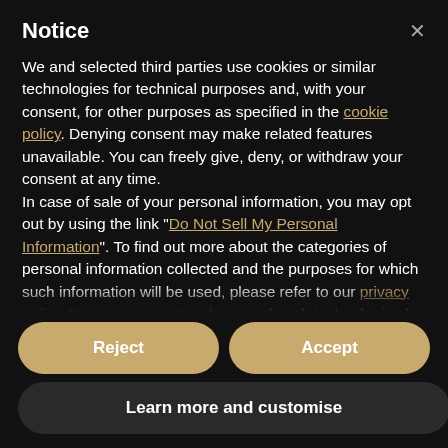Notice
We and selected third parties use cookies or similar technologies for technical purposes and, with your consent, for other purposes as specified in the cookie policy. Denying consent may make related features unavailable. You can freely give, deny, or withdraw your consent at any time.
In case of sale of your personal information, you may opt out by using the link "Do Not Sell My Personal Information".
To find out more about the categories of personal information collected and the purposes for which such information will be used, please refer to our privacy policy. You can consent to the use of such technologies by using the "Accept" button. By closing this notice, you continue
Reject
Accept
Learn more and customise